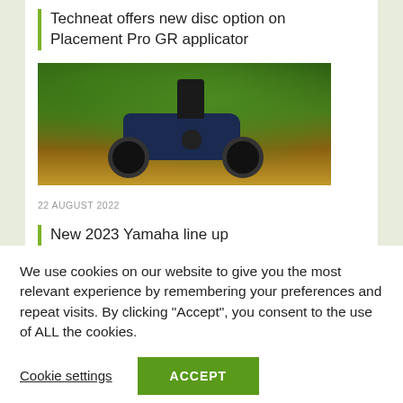Techneat offers new disc option on Placement Pro GR applicator
[Figure (photo): Person riding an ATV/quad bike through a wooded trail]
22 AUGUST 2022
New 2023 Yamaha line up
We use cookies on our website to give you the most relevant experience by remembering your preferences and repeat visits. By clicking “Accept”, you consent to the use of ALL the cookies.
Cookie settings
ACCEPT